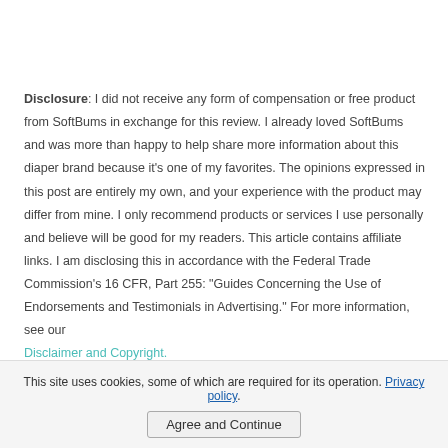Disclosure: I did not receive any form of compensation or free product from SoftBums in exchange for this review.  I already loved SoftBums and was more than happy to help share more information about this diaper brand because it's one of my favorites.  The opinions expressed in this post are entirely my own, and your experience with the product may differ from mine. I only recommend products or services I use personally and believe will be good for my readers. This article contains affiliate links.  I am disclosing this in accordance with the Federal Trade Commission's 16 CFR, Part 255: "Guides Concerning the Use of Endorsements and Testimonials in Advertising." For more information, see our Disclaimer and Copyright.
This site uses cookies, some of which are required for its operation. Privacy policy. Agree and Continue